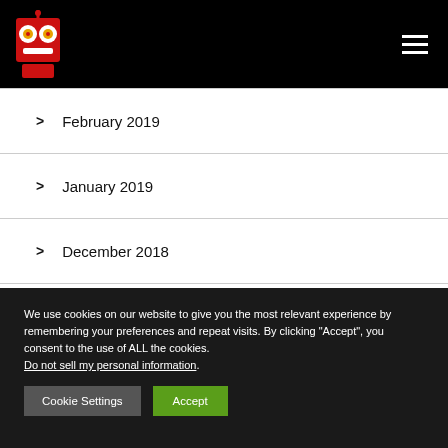[Figure (logo): Red robot logo icon with two circular eyes and a rectangular mouth on a black header bar]
> February 2019
> January 2019
> December 2018
We use cookies on our website to give you the most relevant experience by remembering your preferences and repeat visits. By clicking "Accept", you consent to the use of ALL the cookies. Do not sell my personal information.